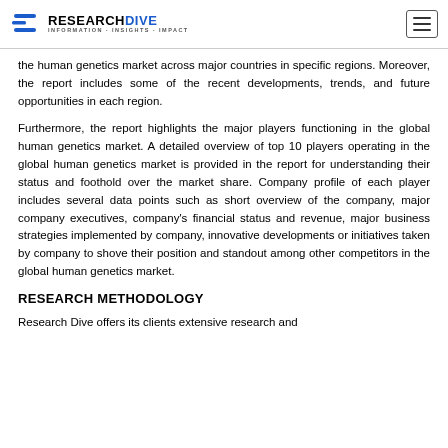RESEARCHDIVE INFORMATION·INSIGHTS·IMPACT
the human genetics market across major countries in specific regions. Moreover, the report includes some of the recent developments, trends, and future opportunities in each region.
Furthermore, the report highlights the major players functioning in the global human genetics market. A detailed overview of top 10 players operating in the global human genetics market is provided in the report for understanding their status and foothold over the market share. Company profile of each player includes several data points such as short overview of the company, major company executives, company's financial status and revenue, major business strategies implemented by company, innovative developments or initiatives taken by company to shove their position and standout among other competitors in the global human genetics market.
RESEARCH METHODOLOGY
Research Dive offers its clients extensive research and